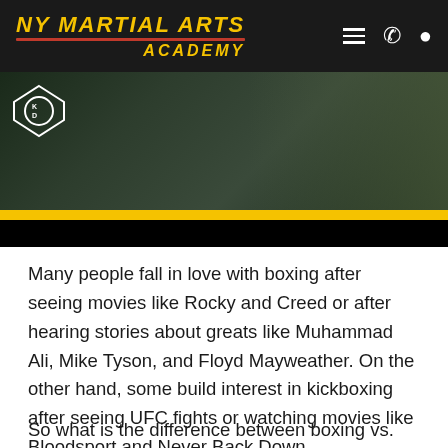NY MARTIAL ARTS ACADEMY
[Figure (photo): Hero image showing martial arts training scene with yellow bar and dark overlay, KD logo visible in top left corner]
Many people fall in love with boxing after seeing movies like Rocky and Creed or after hearing stories about greats like Muhammad Ali, Mike Tyson, and Floyd Mayweather. On the other hand, some build interest in kickboxing after seeing UFC fights or watching movies like Bloodsport and Never Back Down.
So what is the difference between boxing vs. kickboxing? And which is better for you?